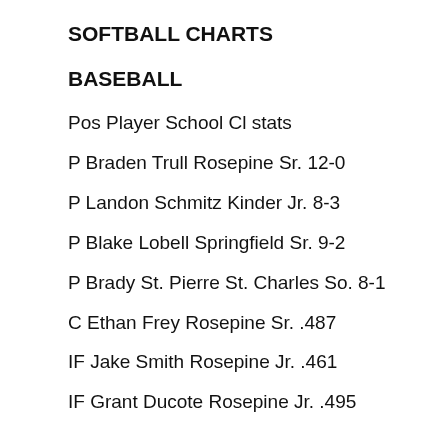SOFTBALL CHARTS
BASEBALL
Pos Player School Cl stats
P Braden Trull Rosepine Sr. 12-0
P Landon Schmitz Kinder Jr. 8-3
P Blake Lobell Springfield Sr. 9-2
P Brady St. Pierre St. Charles So. 8-1
C Ethan Frey Rosepine Sr. .487
IF Jake Smith Rosepine Jr. .461
IF Grant Ducote Rosepine Jr. .495